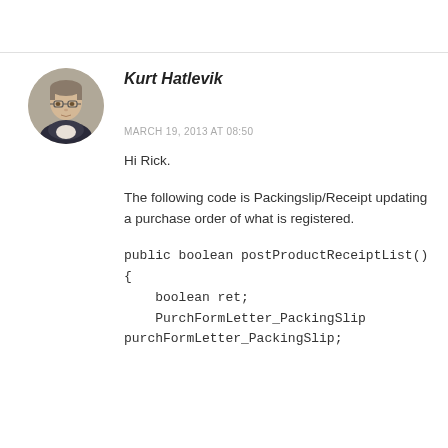[Figure (photo): Headshot avatar of Kurt Hatlevik, a man with glasses wearing a dark jacket]
Kurt Hatlevik
MARCH 19, 2013 AT 08:50
Hi Rick.
The following code is Packingslip/Receipt updating a purchase order of what is registered.
public boolean postProductReceiptList()
{
    boolean ret;
    PurchFormLetter_PackingSlip
purchFormLetter_PackingSlip;